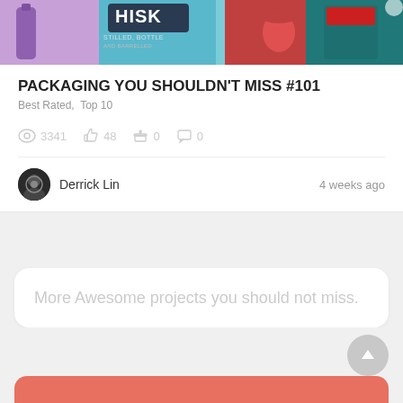[Figure (photo): Top banner image showing various product packaging including drinks and food items]
PACKAGING YOU SHOULDN'T MISS #101
Best Rated,  Top 10
3341  48  0  0
Derrick Lin   4 weeks ago
More Awesome projects you should not miss.